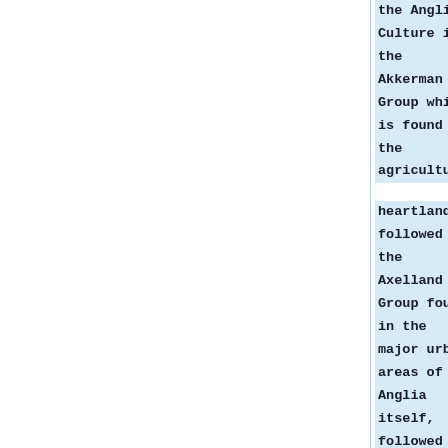the Anglian Culture is the Akkerman Group which is found in the agricultural heartlands, followed by the Axelland Group found in the major urban areas of Anglia itself, followed by the Door-Inner Group